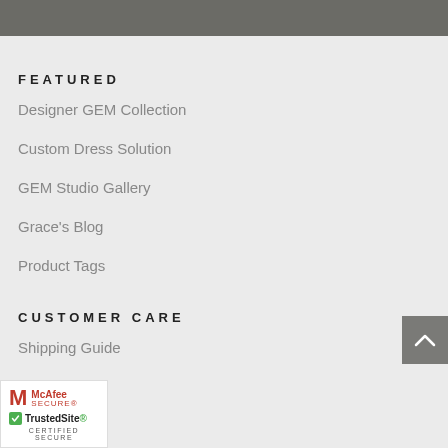FEATURED
Designer GEM Collection
Custom Dress Solution
GEM Studio Gallery
Grace's Blog
Product Tags
CUSTOMER CARE
Shipping Guide
Return Policy
e Chart
[Figure (logo): McAfee Secure TrustedSite Certified Secure badge]